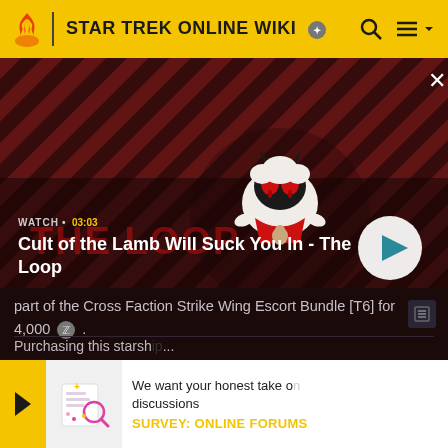STAR TREK ONLINE WIKI
[Figure (screenshot): Video banner showing Cult of the Lamb character on a diagonal striped red and dark background with THE LOOP text. Watch timer shows 03:03. Play button on right side.]
Cult of the Lamb Will Suck You In - The Loop
part of the Cross Faction Strike Wing Escort Bundle [T6] for 4,000 ⓩ .
Purchasing this starsh... discount when purchas... Escort.
[Figure (infographic): Survey popup banner with yellow arrow, survey illustration icon, text 'We want your honest take on discussions' and label 'SURVEY: ONLINE FORUMS']